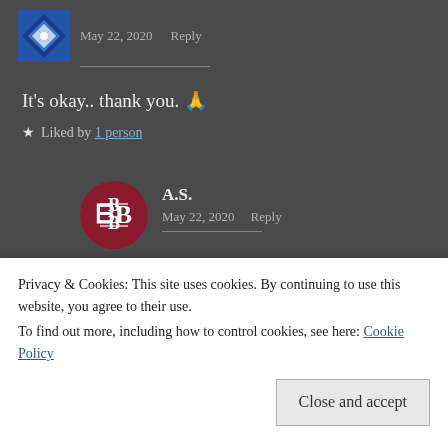[Figure (logo): Blue diamond/flower pattern avatar icon]
May 22, 2020   Reply
It's okay.. thank you. 🙏
★ Liked by 1 person
[Figure (logo): Circular dark red logo with BB initials for Bubu's Bubble]
A.S.
May 22, 2020   Reply
Privacy & Cookies: This site uses cookies. By continuing to use this website, you agree to their use.
To find out more, including how to control cookies, see here: Cookie Policy
Close and accept